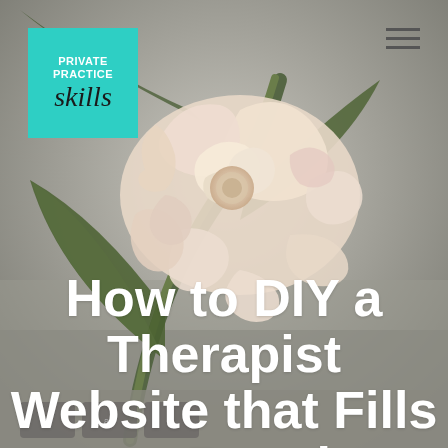[Figure (photo): Background photo of a white/cream peony flower on a blurred laptop keyboard, muted gray-beige tones]
PRIVATE PRACTICE skills
How to DIY a Therapist Website that Fills your Practice (with zero ads!)